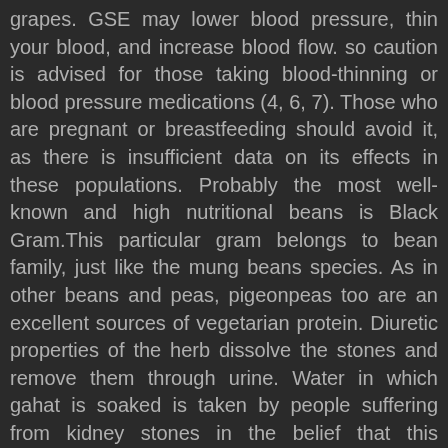grapes. GSE may lower blood pressure, thin your blood, and increase blood flow. so caution is advised for those taking blood-thinning or blood pressure medications (4, 6, 7). Those who are pregnant or breastfeeding should avoid it, as there is insufficient data on its effects in these populations. Probably the most well-known and high nutritional beans is Black Gram.This particular gram belongs to bean family, just like the mung beans species. As in other beans and peas, pigeonpeas too are an excellent sources of vegetarian protein. Diuretic properties of the herb dissolve the stones and remove them through urine. Water in which gahat is soaked is taken by people suffering from kidney stones in the belief that this dissolves the crystals. The liver enzyme alanine aminotransferase (ALT) is a key indicator of liver toxicity, meaning that its levels rise when the liver has sustained damage (37). They also contain healthy monounsaturated fats, polyunsaturated fats and many important vitamins, minerals and antioxidants. Edible seeds offer a good range of nutritional benefits. (horsegram). Those legumes grow best on tropics and subtropics zones.